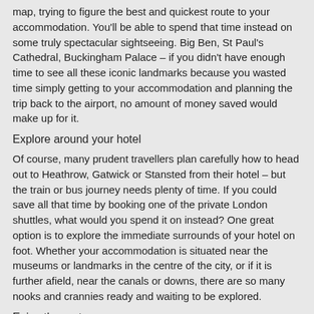map, trying to figure the best and quickest route to your accommodation. You'll be able to spend that time instead on some truly spectacular sightseeing. Big Ben, St Paul's Cathedral, Buckingham Palace – if you didn't have enough time to see all these iconic landmarks because you wasted time simply getting to your accommodation and planning the trip back to the airport, no amount of money saved would make up for it.
Explore around your hotel
Of course, many prudent travellers plan carefully how to head out to Heathrow, Gatwick or Stansted from their hotel – but the train or bus journey needs plenty of time. If you could save all that time by booking one of the private London shuttles, what would you spend it on instead? One great option is to explore the immediate surrounds of your hotel on foot. Whether your accommodation is situated near the museums or landmarks in the centre of the city, or if it is further afield, near the canals or downs, there are so many nooks and crannies ready and waiting to be explored.
Enjoy the route